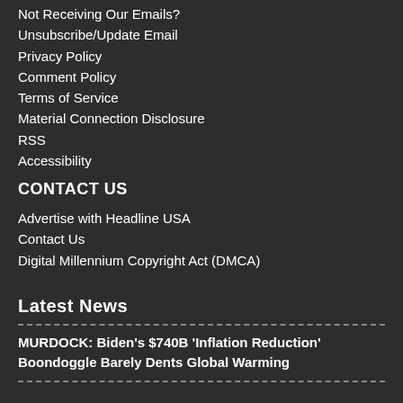Not Receiving Our Emails?
Unsubscribe/Update Email
Privacy Policy
Comment Policy
Terms of Service
Material Connection Disclosure
RSS
Accessibility
CONTACT US
Advertise with Headline USA
Contact Us
Digital Millennium Copyright Act (DMCA)
Latest News
MURDOCK: Biden's $740B 'Inflation Reduction' Boondoggle Barely Dents Global Warming